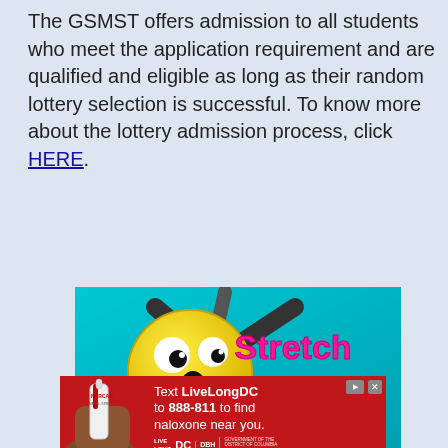The GSMST offers admission to all students who meet the application requirement and are qualified and eligible as long as their random lottery selection is successful. To know more about the lottery admission process, click HERE.
[Figure (screenshot): Screenshot of a mobile app advertisement for 'Stretch Guy' — a game app. Shows a yellow emoji-like character with a shocked expression, with stick-figure limbs stretched out, on a cyan/teal background. Text 'Stretch Guy' in bold pink letters on the right. Below is a grey app store bar with the app icon, name 'Stretch Guy', and a green download button.]
[Figure (advertisement): Red banner advertisement from DC Government reading: 'Text LiveLongDC to 888-811 to find naloxone near you.' with Live Long DC logo, DBH logo, and DC Government / Mayor Muriel Bowser seal. Shows hand holding a Narcan nasal spray.]